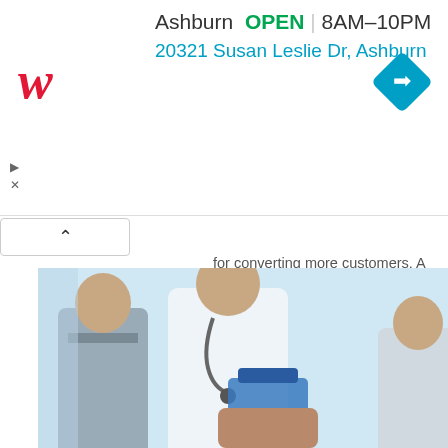[Figure (screenshot): Walgreens advertisement banner showing store location in Ashburn, OPEN 8AM-10PM, address 20321 Susan Leslie Dr, Ashburn, with Walgreens logo and navigation diamond icon]
for converting more customers. A simple and well-structured funnel can help you generate more sales....
[Figure (photo): Two medical professionals, one in a white lab coat with stethoscope holding a blue clipboard, another in a gray suit, consulting together]
Business
Health
Marketing
How To Chose The Right Marketing Agency For Your Healthcare Business.